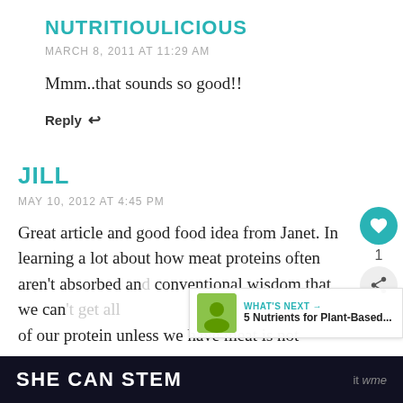NUTRITIOULICIOUS
MARCH 8, 2011 AT 11:29 AM
Mmm..that sounds so good!!
Reply
JILL
MAY 10, 2012 AT 4:45 PM
Great article and good food idea from Janet. In learning a lot about how meat proteins often aren't absorbed and conventional wisdom that we can't get all of our protein unless we have meat is not
WHAT'S NEXT → 5 Nutrients for Plant-Based...
SHE CAN STEM